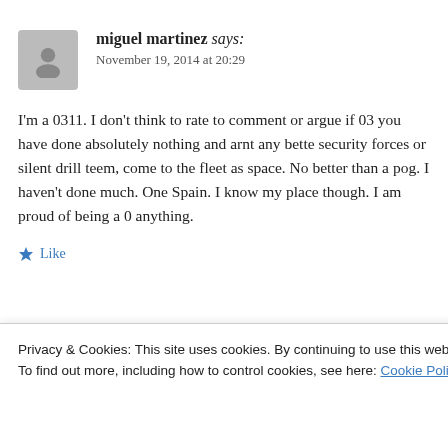miguel martinez says:
November 19, 2014 at 20:29
I'm a 0311. I don't think to rate to comment or argue if 03 you have done absolutely nothing and arnt any better security forces or silent drill teem, come to the fleet as space. No better than a pog. I haven't done much. One Spain. I know my place though. I am proud of being a 0 anything.
Like
Privacy & Cookies: This site uses cookies. By continuing to use this website, you agree to their use.
To find out more, including how to control cookies, see here: Cookie Policy
Close and accept